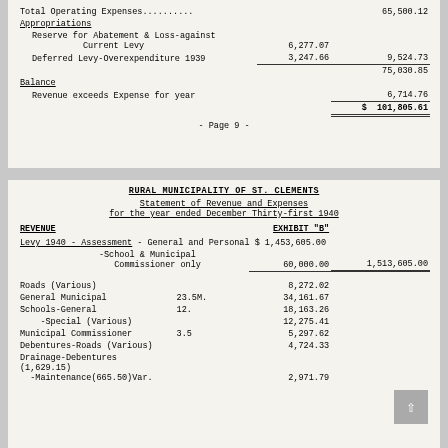| Total Operating Expenses.......... |  | 65,500.12 |
| Appropriations |  |  |
| Reserve for Abatement & Loss-against Current Levy | 6,277.07 |  |
| Deferred Levy-Overexpenditure 1939 | 3,247.66 | 9,524.73 |
|  |  | 75,030.85 |
| Balance |  |  |
| Revenue exceeds Expense for year |  | 6,714.76 |
|  | $ 101,805.61 |  |
- Page 9 -
RURAL MUNICIPALITY OF ST. CLEMENTS
Statement of Revenue and Expenses for the year ended December Thirty-first 1940
| REVENUE |  | EXHIBIT "B" |
| --- | --- | --- |
| Levy 1940 - Assessment - General and Personal $ 1,453,605.00 |  |  |
| -School & Municipal Commissioner only | 60,000.00 | 1,513,605.00 |
| Roads (Various) | 8,272.02 |  |
| General Municipal | 23.5M. | 34,161.67 |
| Schools-General | 12. | 18,163.26 |
| -Special (Various) | 12,275.41 |  |
| Municipal Commissioner | 3.5 | 5,297.62 |
| Debentures-Roads (Various) | 4,724.33 |  |
| Drainage-Debentures (1,629.15) -Maintenance(665.50)Var. |  | 2,971.79 |